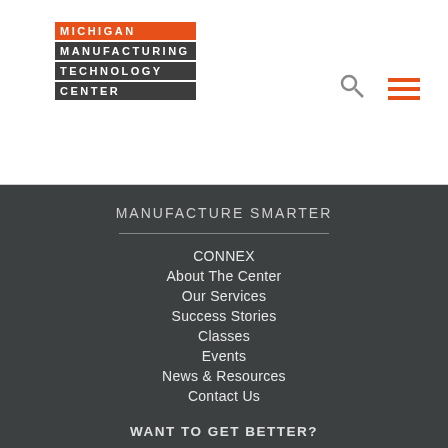[Figure (logo): Michigan Manufacturing Technology Center logo with orange and dark background text blocks]
[Figure (other): Search icon (magnifying glass) and hamburger menu icon in orange]
MANUFACTURE SMARTER
CONNEX
About The Center
Our Services
Success Stories
Classes
Events
News & Resources
Contact Us
WANT TO GET BETTER?
JUST RAISE YOUR HAND